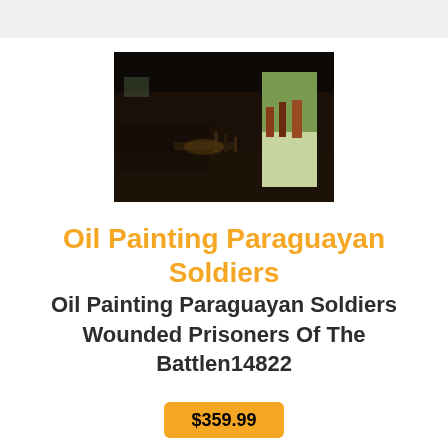[Figure (photo): A dark oil painting depicting Paraguayan soldiers, showing figures in a large interior space with light coming from a doorway on the right side.]
Oil Painting Paraguayan Soldiers
Oil Painting Paraguayan Soldiers Wounded Prisoners Of The Battlen14822
$359.99